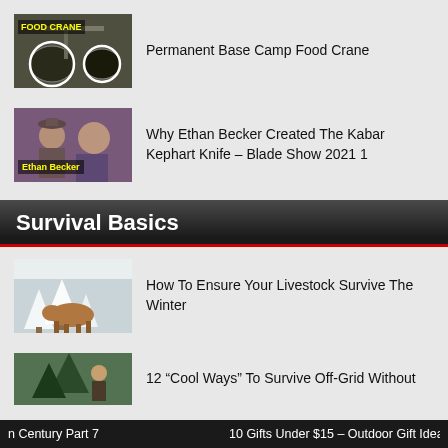[Figure (photo): Thumbnail image for Permanent Base Camp Food Crane with FOOD CRANE label overlay]
Permanent Base Camp Food Crane
[Figure (photo): Thumbnail image of Ethan Becker at Blade Show 2021 with Ethan Becker label overlay]
Why Ethan Becker Created The Kabar Kephart Knife – Blade Show 2021 1
Survival Basics
[Figure (photo): Thumbnail image of cow in snowy winter scene]
How To Ensure Your Livestock Survive The Winter
[Figure (photo): Thumbnail image for 12 Cool Ways To Survive Off-Grid Without Air Conditioning]
12 “Cool Ways” To Survive Off-Grid Without Air Conditioning
n Century Part 7     10 Gifts Under $15 – Outdoor Gift Ideas 2